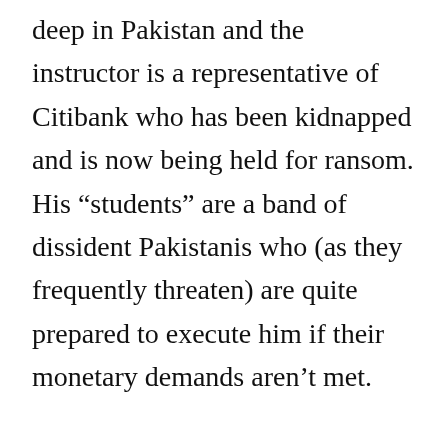deep in Pakistan and the instructor is a representative of Citibank who has been kidnapped and is now being held for ransom. His “students” are a band of dissident Pakistanis who (as they frequently threaten) are quite prepared to execute him if their monetary demands aren’t met.